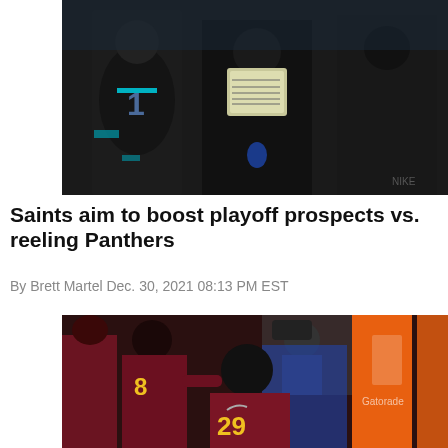[Figure (photo): Carolina Panthers football photo showing players and coaches on the sideline, including a player wearing #1 jersey and a coach holding a play card, all in black uniforms]
Saints aim to boost playoff prospects vs. reeling Panthers
By Brett Martel Dec. 30, 2021 08:13 PM EST
[Figure (photo): Washington Football Team players sitting on the bench looking dejected, including players wearing #8 and #29 jerseys in burgundy and gold uniforms, with orange Gatorade coolers visible in background]